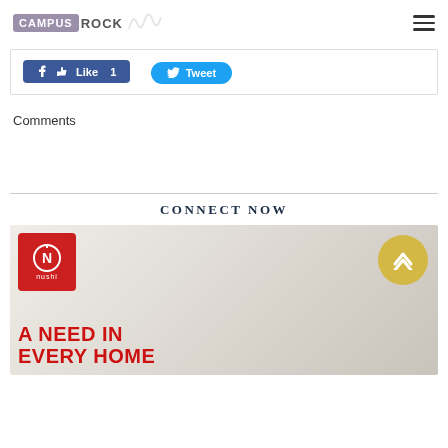CAMPUS ROCK
[Figure (screenshot): Facebook Like button showing 'Like 1' and Twitter Tweet button]
Comments
CONNECT NOW
[Figure (illustration): Advertisement banner with Nushi logo (red square with circular N icon), a yellow circular up-arrow button, and bold red text reading 'A NEED IN EVERY HOME' on a blurred light interior background]